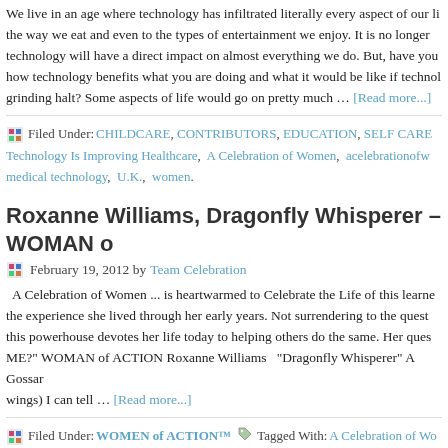We live in an age where technology has infiltrated literally every aspect of our li... the way we eat and even to the types of entertainment we enjoy. It is no longer technology will have a direct impact on almost everything we do. But, have you how technology benefits what you are doing and what it would be like if technol grinding halt? Some aspects of life would go on pretty much … [Read more...]
Filed Under: CHILDCARE, CONTRIBUTORS, EDUCATION, SELF CARE Technology Is Improving Healthcare, A Celebration of Women, acelebrationofw medical technology, U.K., women.
Roxanne Williams, Dragonfly Whisperer – WOMAN o
February 19, 2012 by Team Celebration
A Celebration of Women ... is heartwarmed to Celebrate the Life of this learne the experience she lived through her early years. Not surrendering to the quest this powerhouse devotes her life today to helping others do the same. Her ques ME?" WOMAN of ACTION Roxanne Williams  "Dragonfly Whisperer" A Gossar wings) I can tell … [Read more...]
Filed Under: WOMEN of ACTION™  Tagged With: A Celebration of Wo practices of alchemy, Archetypal Meanings, Carl Jung, childhood abuse, colle jealous father, lion, lioness, long distance Reiki, M.S., meaning to life, medical,